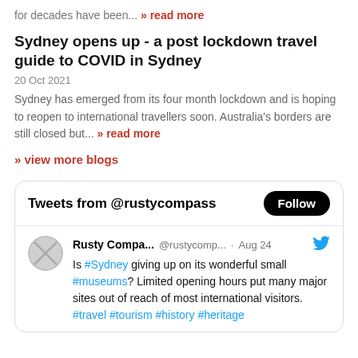for decades have been... » read more
Sydney opens up - a post lockdown travel guide to COVID in Sydney
20 Oct 2021
Sydney has emerged from its four month lockdown and is hoping to reopen to international travellers soon. Australia's borders are still closed but... » read more
» view more blogs
[Figure (screenshot): Twitter widget showing 'Tweets from @rustycompass' header with a Follow button, and a tweet from Rusty Compa... @rustycomp... · Aug 24 reading: Is #Sydney giving up on its wonderful small #museums? Limited opening hours put many major sites out of reach of most international visitors. #travel #tourism #history #heritage]